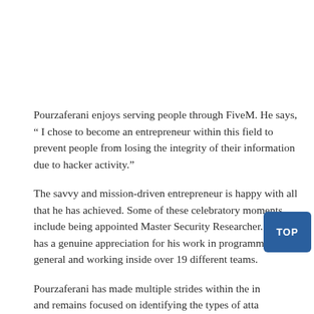Pourzaferani enjoys serving people through FiveM. He says, “ I chose to become an entrepreneur within this field to prevent people from losing the integrity of their information due to hacker activity.”
The savvy and mission-driven entrepreneur is happy with all that he has achieved. Some of these celebratory moments include being appointed Master Security Researcher. He also has a genuine appreciation for his work in programming in general and working inside over 19 different teams.
Pourzaferani has made multiple strides within the ind... and remains focused on identifying the types of attac... cracking down on hackers. He encourages people interested in the field to set realistic goals and work every day to achieve